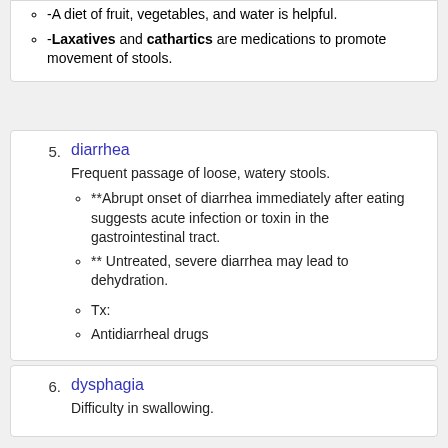-A diet of fruit, vegetables, and water is helpful.
-Laxatives and cathartics are medications to promote movement of stools.
5. diarrhea
Frequent passage of loose, watery stools.
**Abrupt onset of diarrhea immediately after eating suggests acute infection or toxin in the gastrointestinal tract.
** Untreated, severe diarrhea may lead to dehydration.
Tx:
Antidiarrheal drugs
6. dysphagia
Difficulty in swallowing.